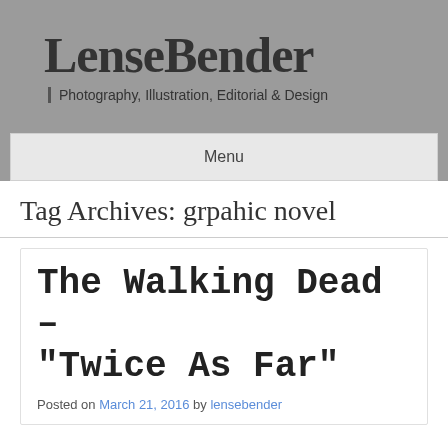LenseBender
Photography, Illustration, Editorial & Design
Menu
Tag Archives: grpahic novel
The Walking Dead – “Twice As Far”
Posted on March 21, 2016 by lensebender